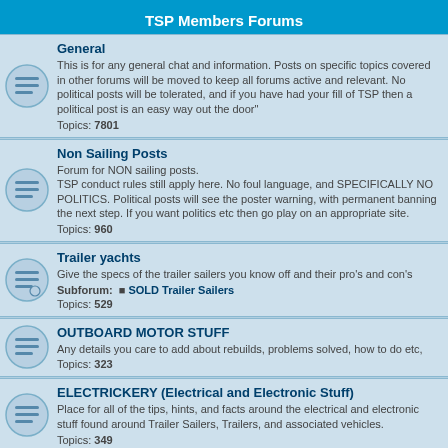TSP Members Forums
General — Topics: 7801
Non Sailing Posts — Topics: 960
Trailer yachts — Subforum: SOLD Trailer Sailers — Topics: 529
OUTBOARD MOTOR STUFF — Topics: 323
ELECTRICKERY (Electrical and Electronic Stuff) — Topics: 349
COOKING ON A TRAILER SAILER